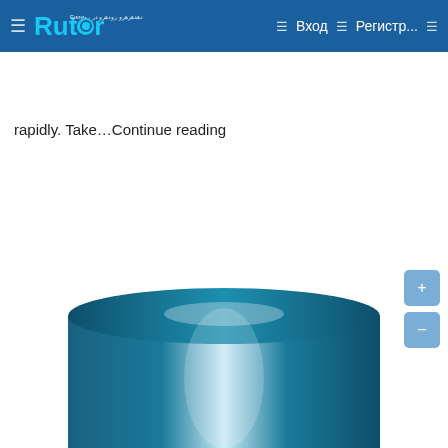Rutor — Вход — Регистр...
rapidly. Take…Continue reading
[Figure (photo): A cylindrical object with a smooth metallic teal/blue surface, viewed from above at an angle, bottom portion of the cylinder visible against white background.]